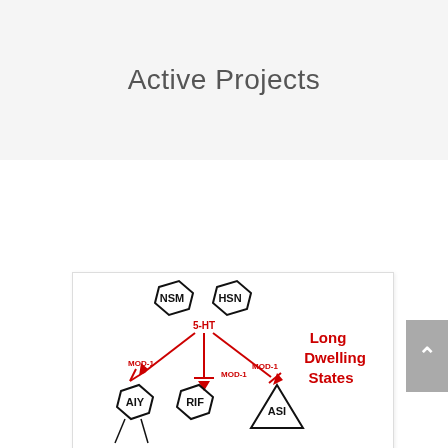Active Projects
[Figure (network-graph): Network diagram showing serotonin (5-HT) signaling pathway. NSM and HSN hexagonal nodes connect to 5-HT label, which has red inhibitory arrows (MOD-1) pointing to AIY (hexagon), RIF (hexagon), and ASI (triangle) nodes. Label reading 'Long Dwelling States' appears in red bold text to the right.]